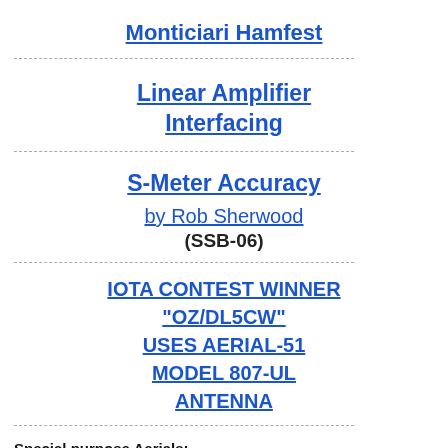Monticiari Hamfest
Linear Amplifier Interfacing
S-Meter Accuracy
by Rob Sherwood
(SSB-06)
IOTA CONTEST WINNER "OZ/DL5CW" USES AERIAL-51 MODEL 807-UL ANTENNA
Special purpose Aerials:
[Figure (photo): Dark image, appears to be a photograph of an antenna or radio equipment]